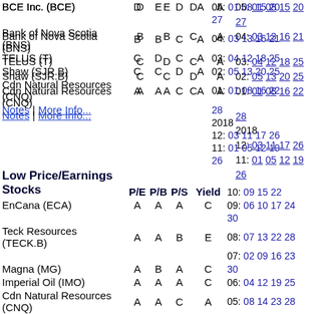| Company | P/E | P/B | P/S | Yield | Dates |
| --- | --- | --- | --- | --- | --- |
| BCE Inc. (BCE) | D | E | D | A | 05: 01 08 15 20
27 |
| Bank of Nova Scotia (BNS) | B | B | C | A | 04: 03 13 16 21 |
| TELUS (T) | C | D | C | A | 03: 04 12 18 25 |
| Shaw (SJR.B) | C | C | D | A | 02: 05 13 20 25 |
| Cdn Natural Resources (CNQ) | A | A | C | A | 01: 01 08 16 22
28
2018
12: 03 11 17 26
11: 01 05 12 19 26
10: 09 15 22
09: 06 10 17 24
30
08: 07 13 22 28
07: 02 09 16 23
30
06: 04 12 19 25
05: 08 14 23 28
04: 02 10 16 22
30
03: 05 12 19 27
02: 05 12 20 26 |
Notes | More Info...
Low Price/Earnings Stocks
| Company | P/E | P/B | P/S | Yield | Dates |
| --- | --- | --- | --- | --- | --- |
| EnCana (ECA) | A | A | A | C |  |
| Teck Resources (TECK.B) | A | A | B | E |  |
| Magna (MG) | A | B | A | C | 30 |
| Imperial Oil (IMO) | A | A | A | C | 06: 04 12 19 25 |
| Cdn Natural Resources (CNQ) | A | A | C | A | 05: 08 14 23 28
04: 02 10 16 22
30 |
| Manulife (MFC) | A | A | B | B |  |
| Alimentation Couche-Tard (ATD.B) | A | B | A | D | 03: 05 12 19 27
02: 05 12 20 26 |